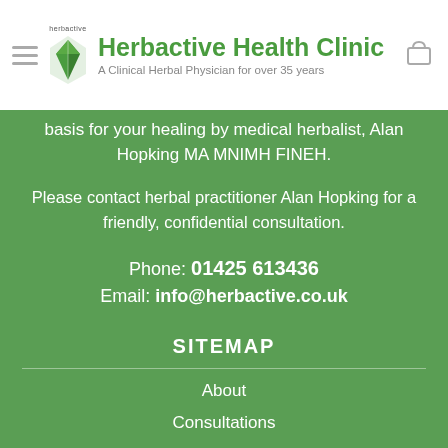Herbactive Health Clinic — A Clinical Herbal Physician for over 35 years
basis for your healing by medical herbalist, Alan Hopking MA MNIMH FINEH.
Please contact herbal practitioner Alan Hopking for a friendly, confidential consultation.
Phone: 01425 613436
Email: info@herbactive.co.uk
SITEMAP
About
Consultations
Price List